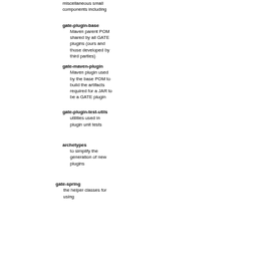miscellaneous small components including
gate-plugin-base: Maven parent POM shared by all GATE plugins (ours and those developed by third parties)
gate-maven-plugin: Maven plugin used by the base POM to build the artifacts required for a JAR to be a GATE plugin
gate-plugin-test-utils: utilities used in plugin unit tests
archetypes: to simplify the generation of new plugins
gate-spring: the helper classes for using